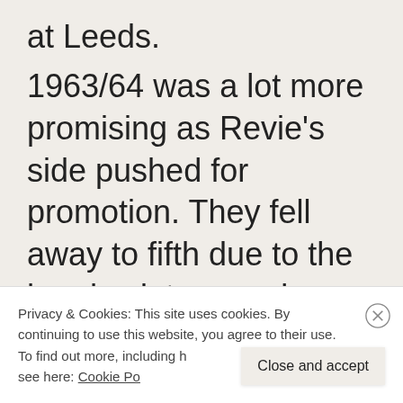at Leeds.
1963/64 was a lot more promising as Revie’s side pushed for promotion. They fell away to fifth due to the harsh winter causing a backlog log of games which caused too much for the young
Privacy & Cookies: This site uses cookies. By continuing to use this website, you agree to their use.
To find out more, including how to control cookies, see here: Cookie Policy
Close and accept